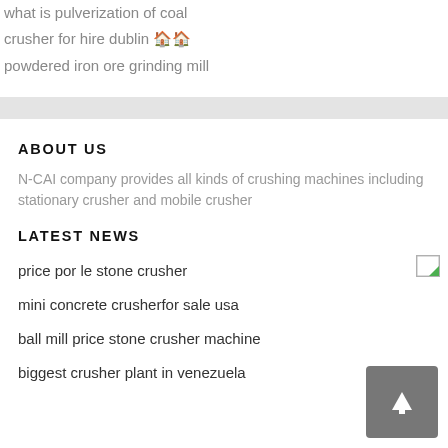what is pulverization of coal
crusher for hire dublin 🏠🏠
powdered iron ore grinding mill
ABOUT US
N-CAI company provides all kinds of crushing machines including stationary crusher and mobile crusher
LATEST NEWS
price por le stone crusher
mini concrete crusherfor sale usa
ball mill price stone crusher machine
biggest crusher plant in venezuela